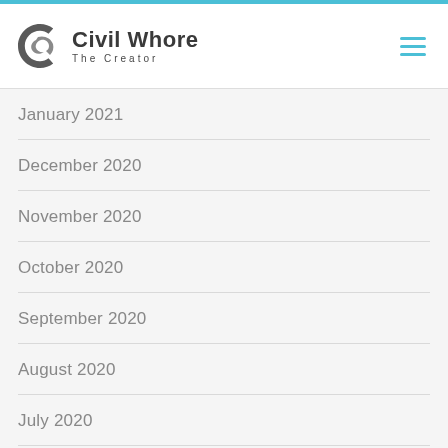Civil Whore The Creator
January 2021
December 2020
November 2020
October 2020
September 2020
August 2020
July 2020